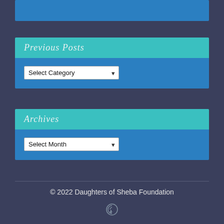Previous Posts
Select Category
Archives
Select Month
© 2022 Daughters of Sheba Foundation